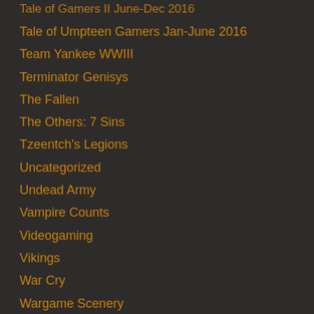Tale of Gamers II June-Dec 2016
Tale of Umpteen Gamers Jan-June 2016
Team Yankee WWIII
Terminator Genisys
The Fallen
The Others: 7 Sins
Tzeentch's Legions
Uncategorized
Undead Army
Vampire Counts
Videogaming
Vikings
War Cry
Wargame Scenery
Warhammer Fantasy – 9th Age
Warhammer: Underworlds
Warzone
Wood Elf Army
Work in Progress
WWII Wehrmacht Mid-War
Zavod 311 Table Project